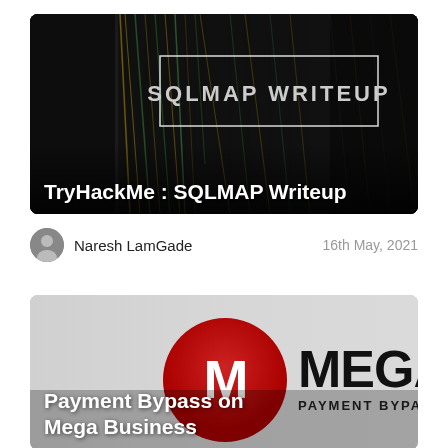[Figure (screenshot): Dark background image of server cables/wiring with text overlay 'SQLMAP WRITEUP' in a white rectangle, and bold white title 'TryHackMe : SQLMAP Writeup' at the bottom]
TryHackMe : SQLMAP Writeup
Naresh LamGade
16th May, 2021
[Figure (screenshot): Light grey background with MEGA logo (red circle with white M) and 'MEGA PAYMENT BYPASS' text, overlaid with bold white title 'Payment Bypass on Mega Business']